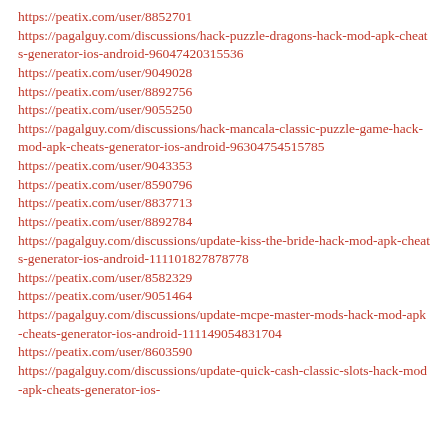https://peatix.com/user/8852701
https://pagalguy.com/discussions/hack-puzzle-dragons-hack-mod-apk-cheats-generator-ios-android-96047420315536
https://peatix.com/user/9049028
https://peatix.com/user/8892756
https://peatix.com/user/9055250
https://pagalguy.com/discussions/hack-mancala-classic-puzzle-game-hack-mod-apk-cheats-generator-ios-android-96304754515785
https://peatix.com/user/9043353
https://peatix.com/user/8590796
https://peatix.com/user/8837713
https://peatix.com/user/8892784
https://pagalguy.com/discussions/update-kiss-the-bride-hack-mod-apk-cheats-generator-ios-android-111101827878778
https://peatix.com/user/8582329
https://peatix.com/user/9051464
https://pagalguy.com/discussions/update-mcpe-master-mods-hack-mod-apk-cheats-generator-ios-android-111149054831704
https://peatix.com/user/8603590
https://pagalguy.com/discussions/update-quick-cash-classic-slots-hack-mod-apk-cheats-generator-ios-